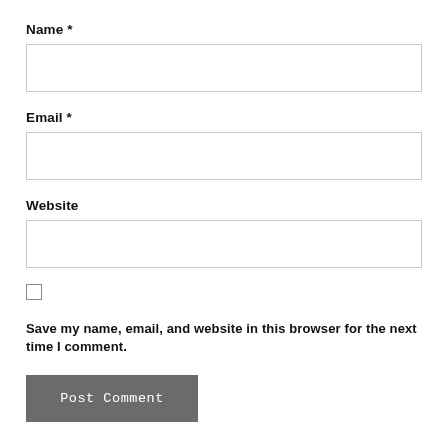Name *
[Figure (other): Empty text input box for Name field]
Email *
[Figure (other): Empty text input box for Email field]
Website
[Figure (other): Empty text input box for Website field]
[Figure (other): Unchecked checkbox]
Save my name, email, and website in this browser for the next time I comment.
[Figure (other): Post Comment button, gray background with white text]